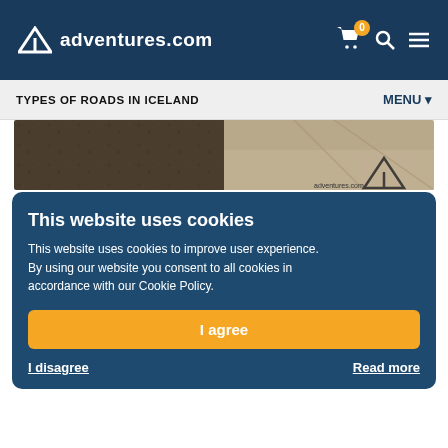adventures.com
TYPES OF ROADS IN ICELAND | MENU
[Figure (photo): Road in Iceland showing gravel and paved surface with adventures.com logo watermark]
OTHER ROADS
Iceland has several other types of roads you might encounter if you choose to go off the beaten path. Secondary roads lead to natural attractions that are close to the main road. You won't be able to venture far into the country's interior on a secondary road and because the access isn't so limited, their condition is usually reasonably good.
This website uses cookies
This website uses cookies to improve user experience. By using our website you consent to all cookies in accordance with our Cookie Policy.
I agree
I disagree | Read more